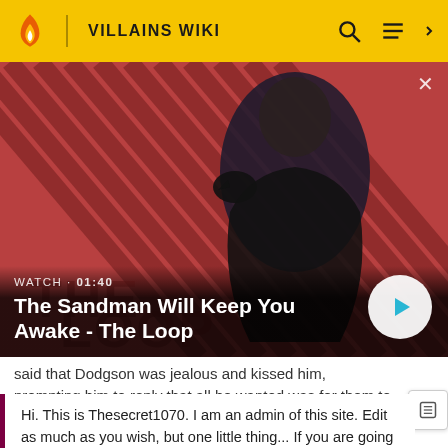VILLAINS WIKI
[Figure (screenshot): Video thumbnail showing a dark-cloaked figure with a raven on shoulder against a red diagonal stripe background. Overlay shows: WATCH · 01:40, title 'The Sandman Will Keep You Awake - The Loop', and a play button.]
said that Dodgson was jealous and kissed him, prompting him to reply that all he wanted was for them to stay on
Hi. This is Thesecret1070. I am an admin of this site. Edit as much as you wish, but one little thing... If you are going to edit a lot, then make yourself a user and login. Other than that, enjoy Villains Wiki!!!